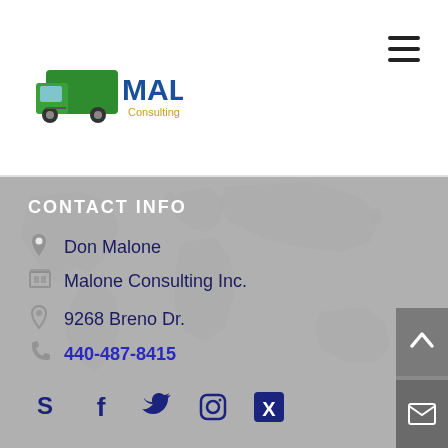[Figure (logo): Malone Consulting Inc. logo with green truck icon and blue/gold text]
[Figure (other): Hamburger menu icon (three horizontal lines)]
CONTACT INFO
Don Malone
Malone Consulting Inc.
9268 Breno Dr.
440-487-8415
[Figure (other): Social media icons row: Skype, Facebook, Twitter, Instagram, XING]